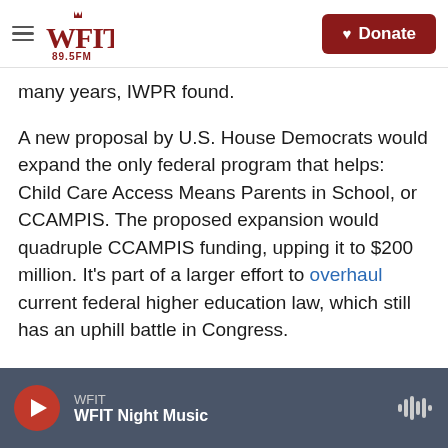WFIT 89.5FM — Donate
many years, IWPR found.
A new proposal by U.S. House Democrats would expand the only federal program that helps: Child Care Access Means Parents in School, or CCAMPIS. The proposed expansion would quadruple CCAMPIS funding, upping it to $200 million. It's part of a larger effort to overhaul current federal higher education law, which still has an uphill battle in Congress.
"This isn't just about quality care for kids," says Rep. Katherine Clark, a Democrat from Massachusetts who is leading the effort to expand CCAMPIS. "Thi
WFIT — WFIT Night Music